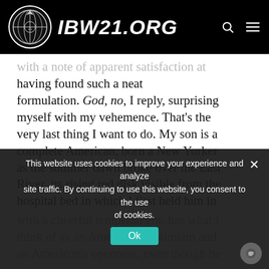IBW21.ORG
with a note of apparent satisfaction at having found such a neat formulation. God, no, I reply, surprising myself with my vehemence. That’s the very last thing I want to do. My son is a complete American, born a New Yorker as the summer dawn broke over the East River, its rising red disk visible from the hospital bed in which I first held him in
with a cheerful temperament, has what I think of as an American’s optimism and an American’s openness, even though he
This website uses cookies to improve your experience and analyze site traffic. By continuing to use this website, you consent to the use of cookies.